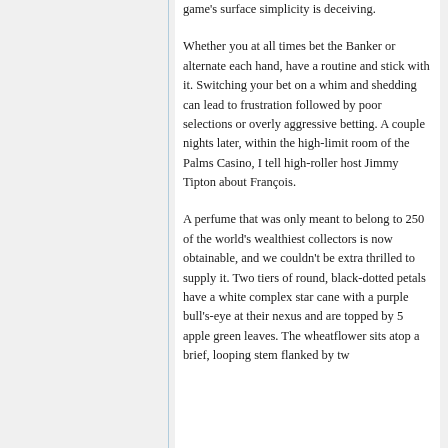game's surface simplicity is deceiving.
Whether you at all times bet the Banker or alternate each hand, have a routine and stick with it. Switching your bet on a whim and shedding can lead to frustration followed by poor selections or overly aggressive betting. A couple nights later, within the high-limit room of the Palms Casino, I tell high-roller host Jimmy Tipton about François.
A perfume that was only meant to belong to 250 of the world's wealthiest collectors is now obtainable, and we couldn't be extra thrilled to supply it. Two tiers of round, black-dotted petals have a white complex star cane with a purple bull's-eye at their nexus and are topped by 5 apple green leaves. The wheatflower sits atop a brief, looping stem flanked by two